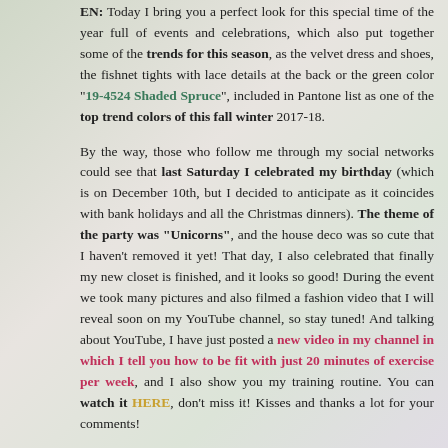EN: Today I bring you a perfect look for this special time of the year full of events and celebrations, which also put together some of the trends for this season, as the velvet dress and shoes, the fishnet tights with lace details at the back or the green color "19-4524 Shaded Spruce", included in Pantone list as one of the top trend colors of this fall winter 2017-18.
By the way, those who follow me through my social networks could see that last Saturday I celebrated my birthday (which is on December 10th, but I decided to anticipate as it coincides with bank holidays and all the Christmas dinners). The theme of the party was "Unicorns", and the house deco was so cute that I haven't removed it yet! That day, I also celebrated that finally my new closet is finished, and it looks so good! During the event we took many pictures and also filmed a fashion video that I will reveal soon on my YouTube channel, so stay tuned! And talking about YouTube, I have just posted a new video in my channel in which I tell you how to be fit with just 20 minutes of exercise per week, and I also show you my training routine. You can watch it HERE, don't miss it! Kisses and thanks a lot for your comments!
ES: Hoy os traigo un look perfecto para las fechas que se avecinan llenas de eventos y celebraciones, que ademas reune varias tendencias de esta temporada, como son el vestido y los zapatos de